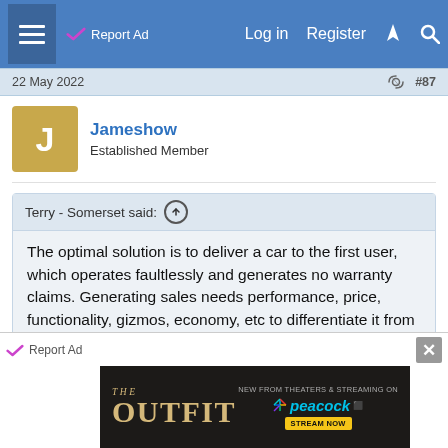Report Ad | Log in | Register
22 May 2022   #87
Jameshow
Established Member
Terry - Somerset said:
The optimal solution is to deliver a car to the first user, which operates faultlessly and generates no warranty claims. Generating sales needs performance, price, functionality, gizmos, economy, etc to differentiate it from the competition. No sales = no business.
Reliability and longevity cost - so most manufacturers limit
Click to expand...
[Figure (screenshot): Bottom advertisement banner for 'The Outfit' movie, streaming on Peacock. Dark background with gold text showing movie title and Peacock streaming logo with 'Stream Now' button.]